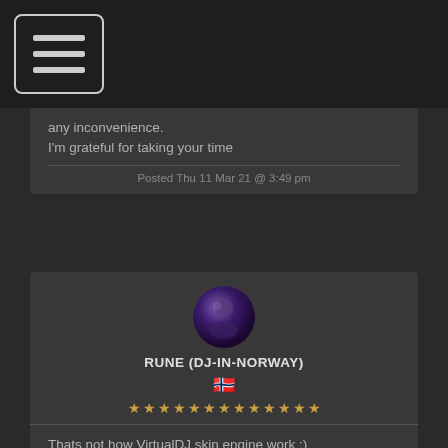[Figure (illustration): Hamburger menu icon in rounded rectangle]
any inconvenience.
I'm grateful for taking your time
Posted Thu 11 Mar 21 @ 3:49 pm
[Figure (illustration): Circular avatar photo of user RUNE (DJ-IN-NORWAY) with purple tones]
RUNE (DJ-IN-NORWAY)
[Figure (illustration): Norwegian flag emoji]
[Figure (illustration): Row of 13 gold stars representing user rank]
Thats not how VirtualDJ skin engine work :)
image1.png, image2.png, image3.png, image4.png in your example, you would need to add to the skin image file (the one referenced in the first <skin> xml tag, aka